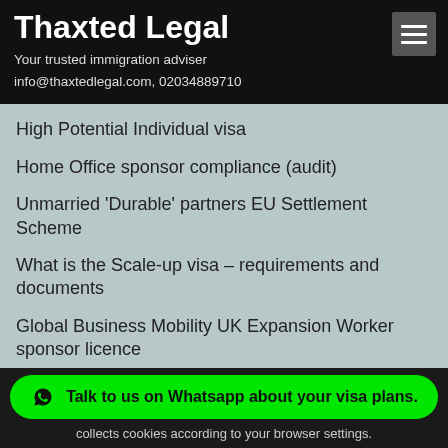Thaxted Legal
Your trusted immigration adviser
info@thaxtedlegal.com, 02034889710
High Potential Individual visa
Home Office sponsor compliance (audit)
Unmarried 'Durable' partners EU Settlement Scheme
What is the Scale-up visa – requirements and documents
Global Business Mobility UK Expansion Worker sponsor licence
About us – why we are unique
Can you get a refund for UK visa immigration fees
Talk to us on Whatsapp about your visa plans.
collects cookies according to your browser settings.